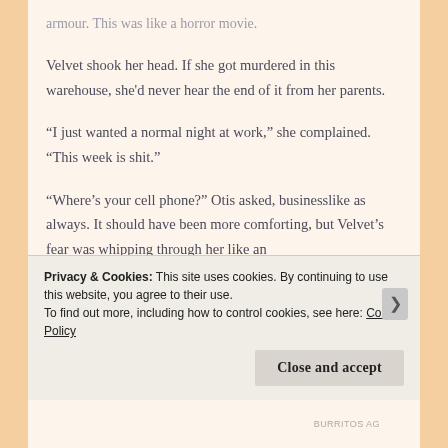armour. This was like a horror movie.
Velvet shook her head. If she got murdered in this warehouse, she’d never hear the end of it from her parents.
“I just wanted a normal night at work,” she complained. “This week is shit.”
“Where’s your cell phone?” Otis asked, businesslike as always. It should have been more comforting, but Velvet’s fear was whipping through her like an
Privacy & Cookies: This site uses cookies. By continuing to use this website, you agree to their use.
To find out more, including how to control cookies, see here: Cookie Policy
Close and accept